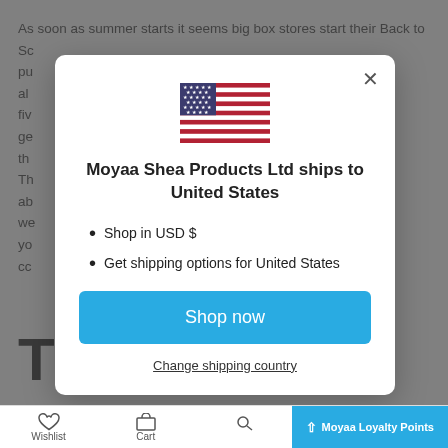As soon as summer starts it seems big box stores start their Back to School sales. And while it's always a good feeling to save a little money on purchasing school supplies, what parents really want is good quality. They always want to make sure they're getting the best value for their money. Every five years or so the traditional three ring binder gets a facelift. You think you're getting the same product only to discover that they've changed the way they're designed to a more chintzy style that won't hold up nearly as well.

The good news is that with a little research, you can find quality products that will hold up throughout the school year, and we're here to help make sure you're getting it. By shopping with us, you're sure to find exactly what you need at a price that you'll love! Our products are carefully curated with quality and value in mind.

This...
Br...
[Figure (screenshot): Modal dialog overlaying a webpage. Contains a US flag SVG, heading 'Moyaa Shea Products Ltd ships to United States', bullet list with 'Shop in USD $' and 'Get shipping options for United States', a blue 'Shop now' button, and a 'Change shipping country' link. Close button (X) in top right.]
Wishlist | Cart | Moyaa Loyalty Points